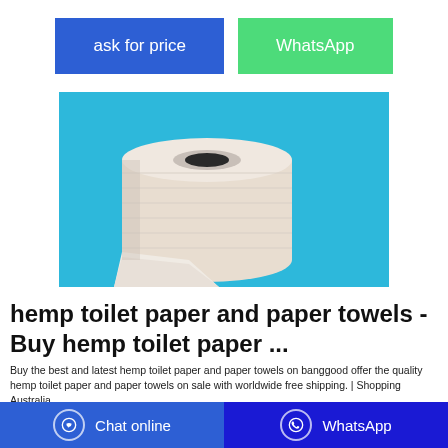ask for price
WhatsApp
[Figure (photo): A roll of toilet paper on a blue background, with the paper partially unrolled at the bottom.]
hemp toilet paper and paper towels - Buy hemp toilet paper ...
Buy the best and latest hemp toilet paper and paper towels on banggood offer the quality hemp toilet paper and paper towels on sale with worldwide free shipping. | Shopping Australia
Chat online
WhatsApp